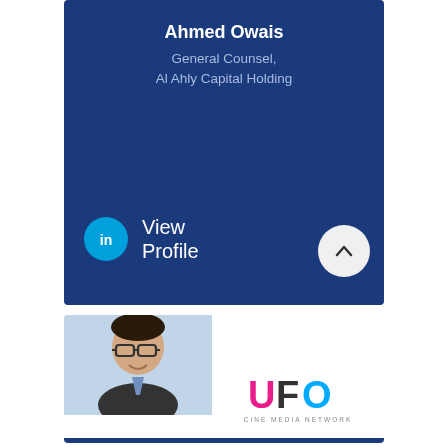Ahmed Owais
General Counsel, Al Ahly Capital Holding
View Profile
[Figure (photo): LinkedIn profile card with dark blue background showing name Ahmed Owais, title General Counsel at Al Ahly Capital Holding, LinkedIn icon and View Profile text, with circular chevron up button]
[Figure (photo): Profile photo of a smiling man wearing glasses and a dark suit with blue shirt, with UFO Cine Media Network logo below]